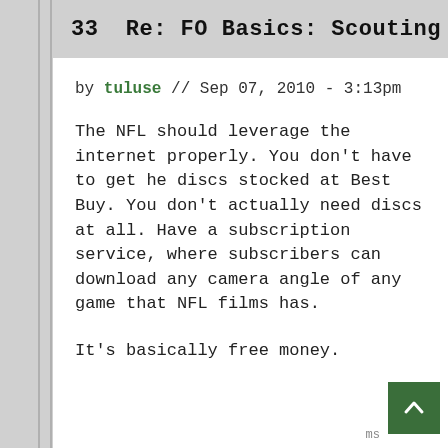33  Re: FO Basics: Scouting
by tuluse // Sep 07, 2010 - 3:13pm
The NFL should leverage the internet properly. You don't have to get he discs stocked at Best Buy. You don't actually need discs at all. Have a subscription service, where subscribers can download any camera angle of any game that NFL films has.
It's basically free money.